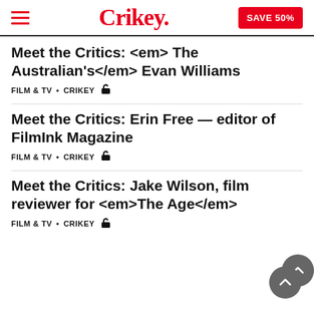Crikey. SAVE 50%
Meet the Critics: <em> The Australian's</em> Evan Williams
FILM & TV • CRIKEY 🔓
Meet the Critics: Erin Free — editor of FilmInk Magazine
FILM & TV • CRIKEY 🔓
Meet the Critics: Jake Wilson, film reviewer for <em>The Age</em>
FILM & TV • CRIKEY 🔓